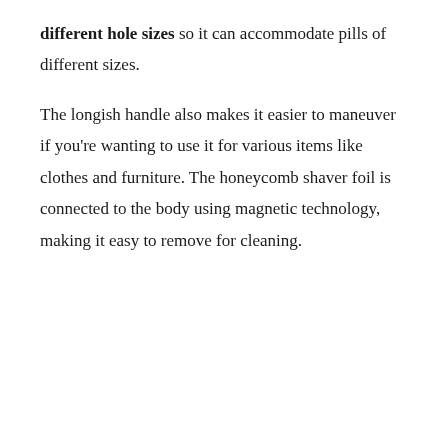different hole sizes so it can accommodate pills of different sizes.
The longish handle also makes it easier to maneuver if you're wanting to use it for various items like clothes and furniture. The honeycomb shaver foil is connected to the body using magnetic technology, making it easy to remove for cleaning.